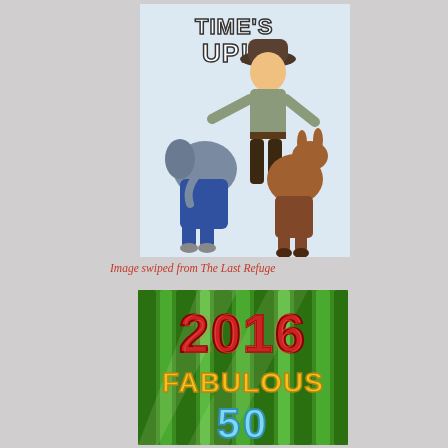[Figure (illustration): Cartoon illustration showing a cowboy/adventurer figure in a hat grabbing and dragging both a blue-suited elephant (Republican symbol) and a brown donkey (Democrat symbol), with 'TIME'S UP!' text above]
Image swiped from The Last Refuge
[Figure (illustration): Colorful graphic showing '2016 FABULOUS 50' text in red and gold/yellow letters on a green bamboo background, with the '50' in light blue at the bottom]